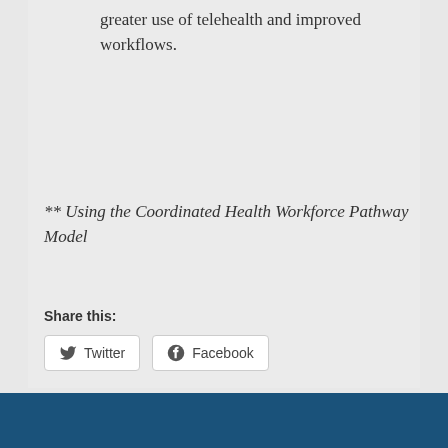greater use of telehealth and improved workflows.
** Using the Coordinated Health Workforce Pathway Model
Share this:
[Figure (screenshot): Twitter and Facebook share buttons]
Like this:
Loading...